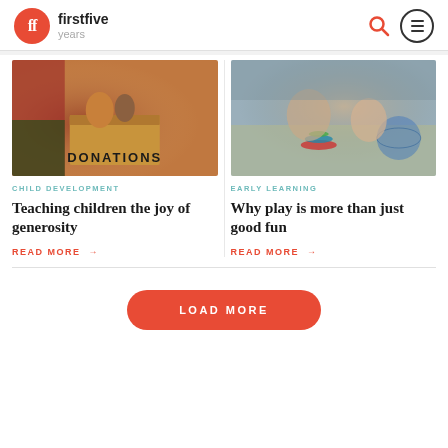firstfive years
[Figure (photo): Photo of hands placing items into a donation box labeled DONATIONS]
CHILD DEVELOPMENT
Teaching children the joy of generosity
READ MORE →
[Figure (photo): Photo of children playing with colorful toys and a globe on the floor]
EARLY LEARNING
Why play is more than just good fun
READ MORE →
LOAD MORE